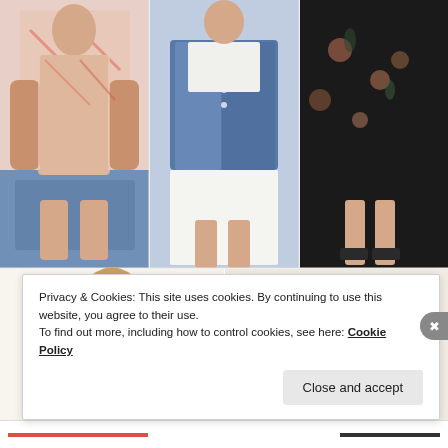[Figure (photo): Fashion product grid showing: top row with three clothing items (floral boho blouse with blue shorts, denim jacket over white skirt, black floral maxi dress with heeled sandals); bottom row showing a woman in yellow off-shoulder crochet top and colorful espadrille sandals]
Privacy & Cookies: This site uses cookies. By continuing to use this website, you agree to their use.
To find out more, including how to control cookies, see here: Cookie Policy
Close and accept